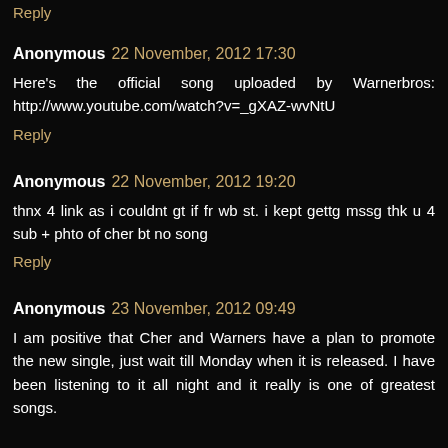Reply
Anonymous 22 November, 2012 17:30
Here's the official song uploaded by Warnerbros: http://www.youtube.com/watch?v=_gXAZ-wvNtU
Reply
Anonymous 22 November, 2012 19:20
thnx 4 link as i couldnt gt if fr wb st. i kept gettg mssg thk u 4 sub + phto of cher bt no song
Reply
Anonymous 23 November, 2012 09:49
I am positive that Cher and Warners have a plan to promote the new single, just wait till Monday when it is released. I have been listening to it all night and it really is one of greatest songs.